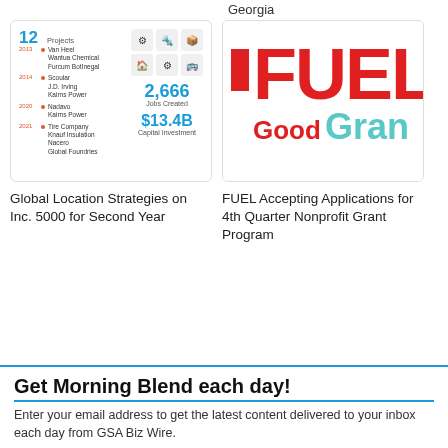Georgia
[Figure (infographic): Infographic showing 12 Projects with timeline entries for companies (Van Heel, Wantua Chemical, Furcum BotInegal, Scoular, J.D. Irving, Kairns Power, Nadavo, Kairns Power, Tire Company, Knauf Insulation, Nacero, Global Foundries) and stats: 2,666 Jobs Created, $13.4B Capital Investment]
[Figure (logo): FUEL Good Grants logo with red and teal text on white background]
Global Location Strategies on Inc. 5000 for Second Year
FUEL Accepting Applications for 4th Quarter Nonprofit Grant Program
Get Morning Blend each day!
Enter your email address to get the latest content delivered to your inbox each day from GSA Biz Wire.